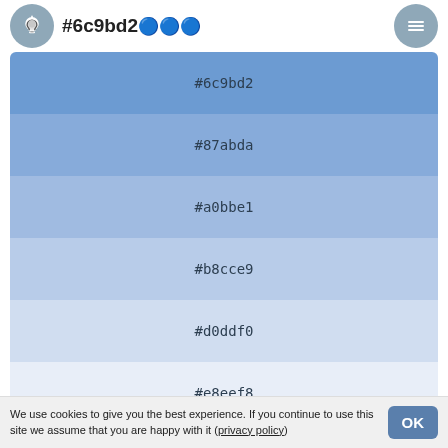#6c9bd2 (lightbulb icon and menu icon)
[Figure (infographic): Color palette swatches from #6c9bd2 to #e8eef8 in 6 strips, each labeled with hex code]
#ffffff / #fff
#6c9bd2 (section title with emoji)
[Figure (infographic): Color palette starting with #6c9bd2 and #5a7fac swatches]
We use cookies to give you the best experience. If you continue to use this site we assume that you are happy with it (privacy policy)